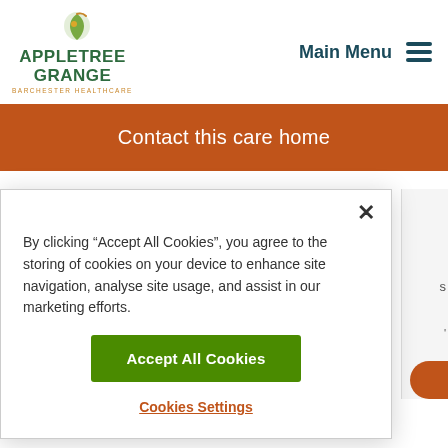[Figure (logo): Appletree Grange logo with apple/leaf icon, green text APPLETREE GRANGE, orange BARCHESTER HEALTHCARE subtitle]
Main Menu
Contact this care home
By clicking “Accept All Cookies”, you agree to the storing of cookies on your device to enhance site navigation, analyse site usage, and assist in our marketing efforts.
Accept All Cookies
Cookies Settings